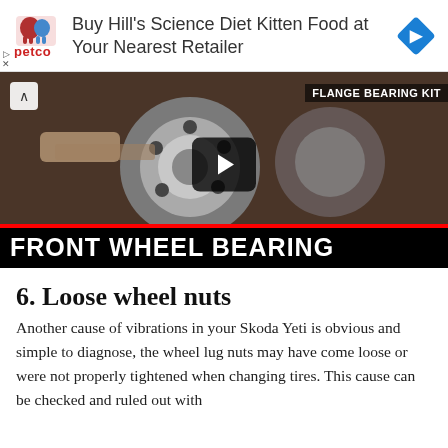[Figure (screenshot): Petco advertisement banner: Petco logo on left, text 'Buy Hill's Science Diet Kitten Food at Your Nearest Retailer', blue navigation diamond icon on right, with small play/skip controls at bottom-left]
[Figure (screenshot): Video thumbnail showing a front wheel bearing being worked on, with text overlay 'FRONT WHEEL BEARING' in white bold text on black background with red border, and 'FLANGE BEARING KIT' text in upper right. A play button is centered on the thumbnail.]
6. Loose wheel nuts
Another cause of vibrations in your Skoda Yeti is obvious and simple to diagnose, the wheel lug nuts may have come loose or were not properly tightened when changing tires. This cause can be checked and ruled out with